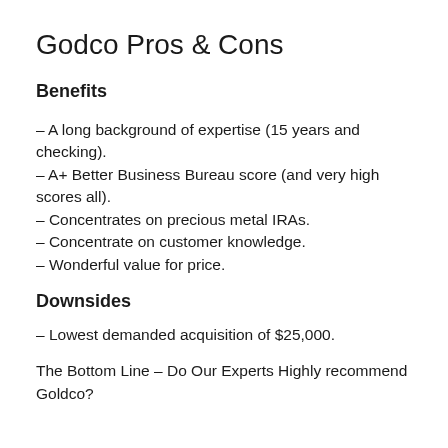Godco Pros & Cons
Benefits
– A long background of expertise (15 years and checking).
– A+ Better Business Bureau score (and very high scores all).
– Concentrates on precious metal IRAs.
– Concentrate on customer knowledge.
– Wonderful value for price.
Downsides
– Lowest demanded acquisition of $25,000.
The Bottom Line – Do Our Experts Highly recommend Goldco?